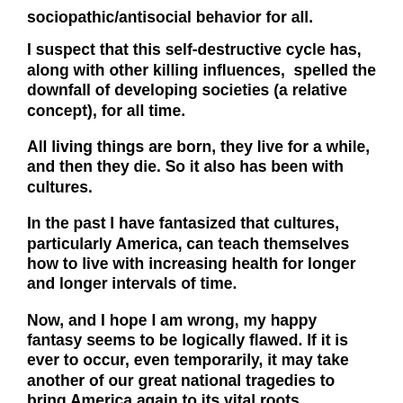sociopathic/antisocial behavior for all.
I suspect that this self-destructive cycle has, along with other killing influences,  spelled the downfall of developing societies (a relative concept), for all time.
All living things are born, they live for a while, and then they die. So it also has been with cultures.
In the past I have fantasized that cultures, particularly America, can teach themselves how to live with increasing health for longer and longer intervals of time.
Now, and I hope I am wrong, my happy fantasy seems to be logically flawed. If it is ever to occur, even temporarily, it may take another of our great national tragedies to bring America again to its vital roots...